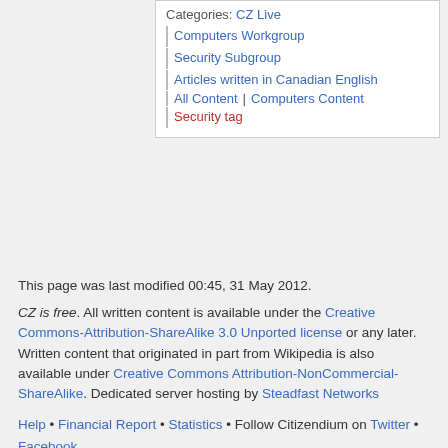Categories: CZ Live
Computers Workgroup
Security Subgroup
Articles written in Canadian English
All Content | Computers Content
Security tag
This page was last modified 00:45, 31 May 2012.
CZ is free. All written content is available under the Creative Commons-Attribution-ShareAlike 3.0 Unported license or any later. Written content that originated in part from Wikipedia is also available under Creative Commons Attribution-NonCommercial-ShareAlike. Dedicated server hosting by Steadfast Networks
Help • Financial Report • Statistics • Follow Citizendium on Twitter • Facebook
Privacy policy    About Citizendium
Disclaimers